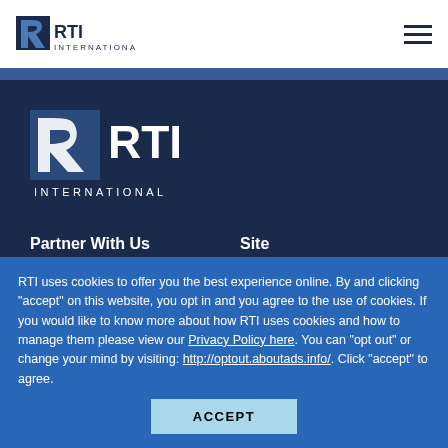RTI International — navigation header with logo and menu icon
[Figure (logo): RTI International large white logo on dark navy background]
Partner With Us
Site
US Government
Privacy Policy
RTI uses cookies to offer you the best experience online. By and clicking “accept” on this website, you opt in and you agree to the use of cookies. If you would like to know more about how RTI uses cookies and how to manage them please view our Privacy Policy here. You can “opt out” or change your mind by visiting: http://optout.aboutads.info/. Click “accept” to agree.